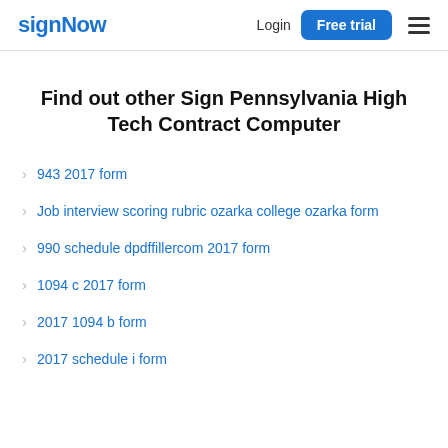signNow  Login  Free trial
Find out other Sign Pennsylvania High Tech Contract Computer
943 2017 form
Job interview scoring rubric ozarka college ozarka form
990 schedule dpdffillercom 2017 form
1094 c 2017 form
2017 1094 b form
2017 schedule i form